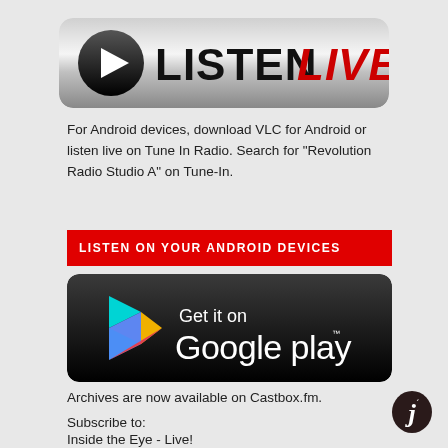[Figure (logo): Listen Live banner with play button icon and text LISTEN LIVE in bold black and red italic]
For Android devices, download VLC for Android or listen live on Tune In Radio. Search for "Revolution Radio Studio A" on Tune-In.
[Figure (infographic): Red banner with white uppercase text: LISTEN ON YOUR ANDROID DEVICES]
[Figure (logo): Get it on Google play badge with Google Play triangle logo on black rounded rectangle background]
Archives are now available on Castbox.fm.
Subscribe to:
Inside the Eye - Live!
Inside the Eye - Live! Prime Time!
[Figure (logo): Castbox logo: dark oval with white letter J and accent mark]